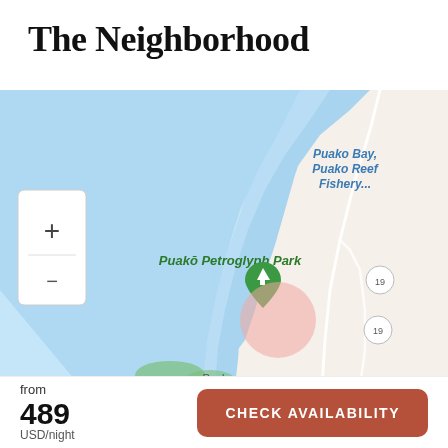The Neighborhood
[Figure (map): Google Maps view showing Puako Bay, Puako Reef Fishery, and Puakō Petroglyph Park on the coast of Hawaii. A green location pin with a tree icon marks Puakō Petroglyph Park. A pink/salmon translucent circle indicates the property location. Road 19 is visible. Zoom in/out controls are visible on the left side.]
from
489
USD/night
CHECK AVAILABILITY